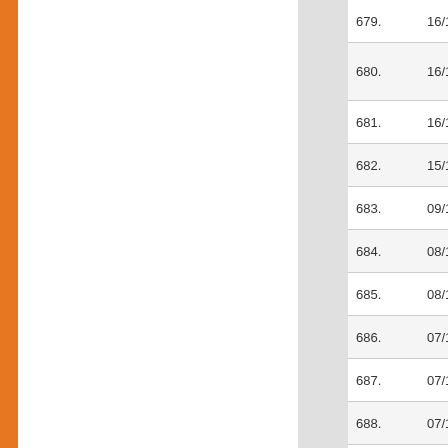| No. | Date | Title |
| --- | --- | --- |
| 679. | 16/12/2016 | CORRECTION Examination |
| 680. | 16/12/2016 | CHANGE in Population B 2016) |
| 681. | 16/12/2016 | ADDITION in SEMESTER |
| 682. | 15/12/2016 | ADDITIONS 7114) Exami |
| 683. | 09/12/2016 | ADDITION in (Bajwara) Ex |
| 684. | 08/12/2016 | CHANGE: LI PU) Exam. ( |
| 685. | 08/12/2016 | CHANGES: 7th Semeste |
| 686. | 07/12/2016 | ADDITION: I (December-2 |
| 687. | 07/12/2016 | CHANGES: (December-2 |
| 688. | 07/12/2016 | ADDITIONS (December-2 |
|  | 07/12/2016 | CHANGE: B |